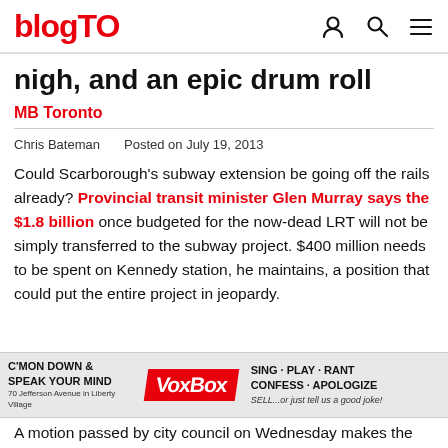blogTO
nigh, and an epic drum roll
MB Toronto
Chris Bateman   Posted on July 19, 2013
Could Scarborough's subway extension be going off the rails already? Provincial transit minister Glen Murray says the $1.8 billion once budgeted for the now-dead LRT will not be simply transferred to the subway project. $400 million needs to be spent on Kennedy station, he maintains, a position that could put the entire project in jeopardy.
[Figure (other): VoxBox advertisement banner: C'MON DOWN & SPEAK YOUR MIND VoxBox SING·PLAY·RANT CONFESS·APOLOGIZE SELL...or just tell us a good joke! 70 Jefferson Avenue in Liberty Village]
A motion passed by city council on Wednesday makes the